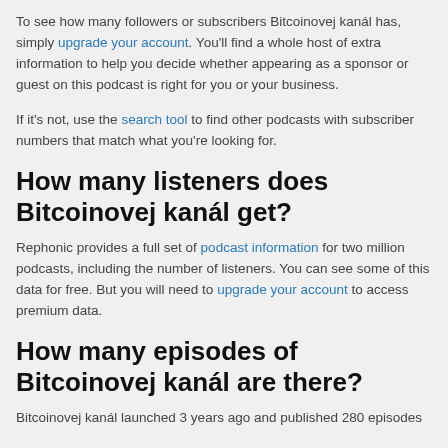To see how many followers or subscribers Bitcoinovej kanál has, simply upgrade your account. You'll find a whole host of extra information to help you decide whether appearing as a sponsor or guest on this podcast is right for you or your business.
If it's not, use the search tool to find other podcasts with subscriber numbers that match what you're looking for.
How many listeners does Bitcoinovej kanál get?
Rephonic provides a full set of podcast information for two million podcasts, including the number of listeners. You can see some of this data for free. But you will need to upgrade your account to access premium data.
How many episodes of Bitcoinovej kanál are there?
Bitcoinovej kanál launched 3 years ago and published 280 episodes